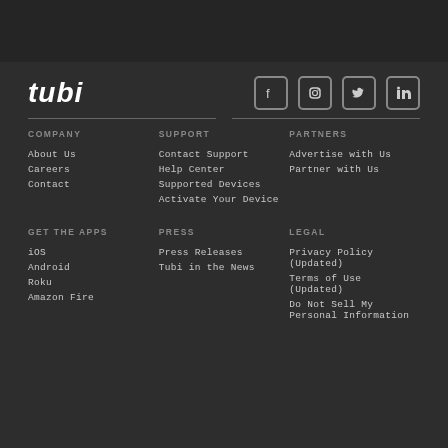[Figure (logo): Tubi logo in white italic bold text]
[Figure (infographic): Social media icons: Facebook, Instagram, Twitter, LinkedIn in rounded square borders]
COMPANY
About Us
Careers
Contact
SUPPORT
Contact Support
Help Center
Supported Devices
Activate Your Device
PARTNERS
Advertise with Us
Partner with Us
GET THE APPS
iOS
Android
Roku
Amazon Fire
PRESS
Press Releases
Tubi in the News
LEGAL
Privacy Policy (Updated)
Terms of Use (Updated)
Do Not Sell My Personal Information